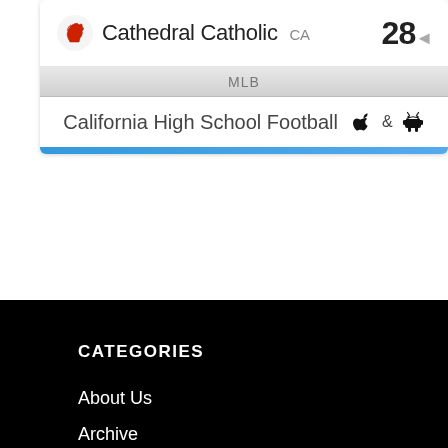[Figure (screenshot): Sports widget card showing Cathedral Catholic CA team with score 28, MLB bar, and California High School Football app icons for Apple and Android]
CATEGORIES
About Us
Archive
Community Events
Contact Us
Employment
Private Policy